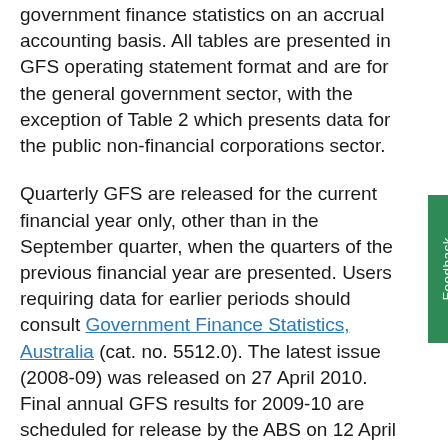government finance statistics on an accrual accounting basis. All tables are presented in GFS operating statement format and are for the general government sector, with the exception of Table 2 which presents data for the public non-financial corporations sector.
Quarterly GFS are released for the current financial year only, other than in the September quarter, when the quarters of the previous financial year are presented. Users requiring data for earlier periods should consult Government Finance Statistics, Australia (cat. no. 5512.0). The latest issue (2008-09) was released on 27 April 2010. Final annual GFS results for 2009-10 are scheduled for release by the ABS on 12 April 2011.